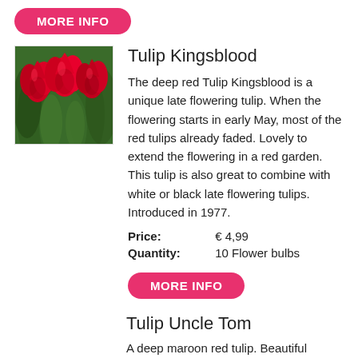MORE INFO
[Figure (photo): Photo of deep red Tulip Kingsblood flowers with green foliage background]
Tulip Kingsblood
The deep red Tulip Kingsblood is a unique late flowering tulip. When the flowering starts in early May, most of the red tulips already faded. Lovely to extend the flowering in a red garden. This tulip is also great to combine with white or black late flowering tulips. Introduced in 1977.
Price: € 4,99
Quantity: 10 Flower bulbs
MORE INFO
Tulip Uncle Tom
A deep maroon red tulip. Beautiful shaped as well.